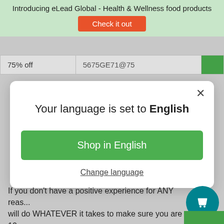Introducing eLead Global - Health & Wellness food products
Check it out
| 75% off | 5675GE71@75 |  |
[Figure (screenshot): Modal dialog with close X button, title 'Your language is set to English', green 'Shop in English' button, and 'Change language' underlined link]
If you don't have a positive experience for ANY reas... will do WHATEVER it takes to make sure you are 10... satisfied with your purchase.